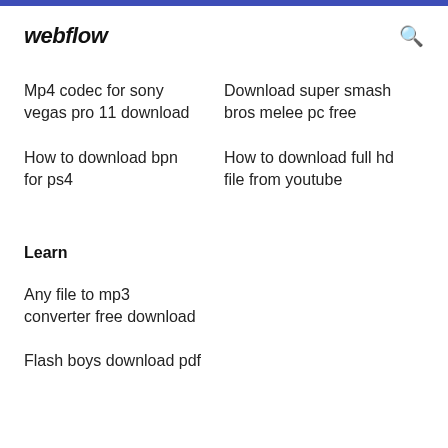webflow
Mp4 codec for sony vegas pro 11 download
Download super smash bros melee pc free
How to download bpn for ps4
How to download full hd file from youtube
Learn
Any file to mp3 converter free download
Flash boys download pdf